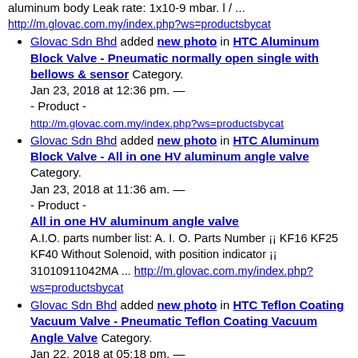aluminum body Leak rate: 1x10-9 mbar. l / ...
http://m.glovac.com.my/index.php?ws=productsbycat
Glovac Sdn Bhd added new photo in HTC Aluminum Block Valve - Pneumatic normally open single with bellows & sensor Category. Jan 23, 2018 at 12:36 pm. — - Product - http://m.glovac.com.my/index.php?ws=productsbycat
Glovac Sdn Bhd added new photo in HTC Aluminum Block Valve - All in one HV aluminum angle valve Category. Jan 23, 2018 at 11:36 am. — - Product - All in one HV aluminum angle valve A.I.O. parts number list: A. I. O. Parts Number ¡¡ KF16 KF25 KF40 Without Solenoid, with position indicator ¡¡ 31010911042MA ... http://m.glovac.com.my/index.php?ws=productsbycat
Glovac Sdn Bhd added new photo in HTC Teflon Coating Vacuum Valve - Pneumatic Teflon Coating Vacuum Angle Valve Category. Jan 22, 2018 at 05:18 pm. — - Product - Pneumatic Teflon Coating Vacuum Angle valve http://m.glovac.com.my/index.php?ws=productsbycat
Glovac Sdn Bhd added new photo in HTC Teflon Coati...